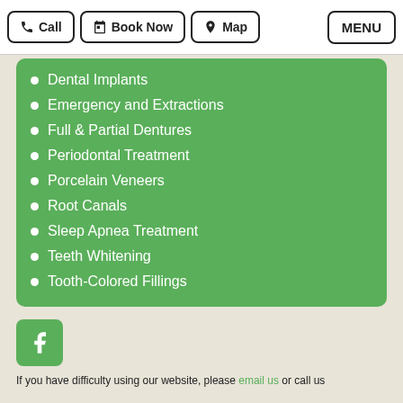Call | Book Now | Map | MENU
Dental Implants
Emergency and Extractions
Full & Partial Dentures
Periodontal Treatment
Porcelain Veneers
Root Canals
Sleep Apnea Treatment
Teeth Whitening
Tooth-Colored Fillings
[Figure (logo): Facebook icon - green square with white F letter]
If you have difficulty using our website, please email us or call us